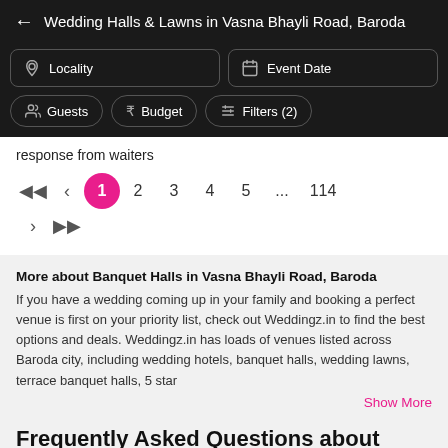Wedding Halls & Lawns in Vasna Bhayli Road, Baroda
Locality
Event Date
Guests
Budget
Filters (2)
response from waiters
1 2 3 4 5 ... 114
More about Banquet Halls in Vasna Bhayli Road, Baroda
If you have a wedding coming up in your family and booking a perfect venue is first on your priority list, check out Weddingz.in to find the best options and deals. Weddingz.in has loads of venues listed across Baroda city, including wedding hotels, banquet halls, wedding lawns, terrace banquet halls, 5 star
Show More
Frequently Asked Questions about